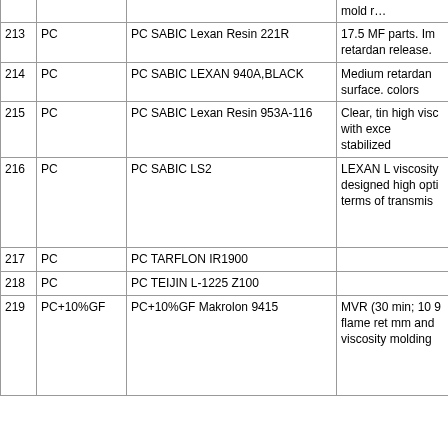| # | Type | Product Name | Description |
| --- | --- | --- | --- |
| 213 | PC | PC SABIC Lexan Resin 221R | 17.5 MF parts. Im retardan release. |
| 214 | PC | PC SABIC LEXAN 940A,BLACK | Medium retardan surface. colors |
| 215 | PC | PC SABIC Lexan Resin 953A-116 | Clear, tin high visc with exce stabilized |
| 216 | PC | PC SABIC LS2 | LEXAN L viscosity designed high opti terms of transmis |
| 217 | PC | PC TARFLON IR1900 |  |
| 218 | PC | PC TEIJIN L-1225 Z100 |  |
| 219 | PC+10%GF | PC+10%GF Makrolon 9415 | MVR (30 min; 10 9 flame ret mm and viscosity molding |